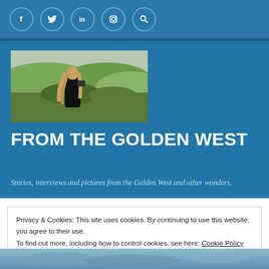Social media navigation bar with icons: f (Facebook), Twitter bird, in (LinkedIn), Instagram camera, Search magnifier
[Figure (photo): Woman with long blonde hair photographing a landscape of green hills and rocky terrain, seen from behind.]
FROM THE GOLDEN WEST
Stories, interviews and pictures from the Golden West and other wonders.
Privacy & Cookies: This site uses cookies. By continuing to use this website, you agree to their use.
To find out more, including how to control cookies, see here: Cookie Policy
[Figure (photo): Partial view of a sky/outdoor scene at the bottom of the page.]